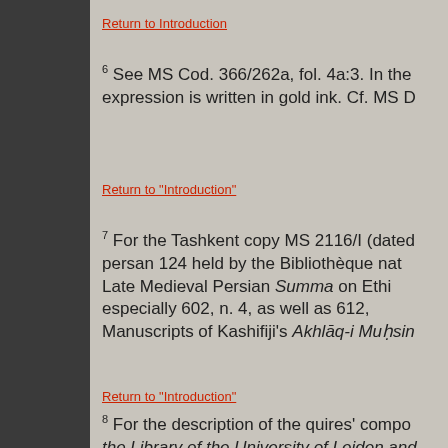Return to Introduction
6 See MS Cod. 366/262a, fol. 4a:3. In the expression is written in gold ink. Cf. MS D
Return to "Introduction"
7 For the Tashkent copy MS 2116/I (dated persan 124 held by the Bibliothèque nat Late Medieval Persian Summa on Ethi especially 602, n. 4, as well as 612, Manuscripts of Kashifiji's Akhlāq-i Muḥsin
Return to "Introduction"
8 For the description of the quires' compo the Library of the University of Leiden and